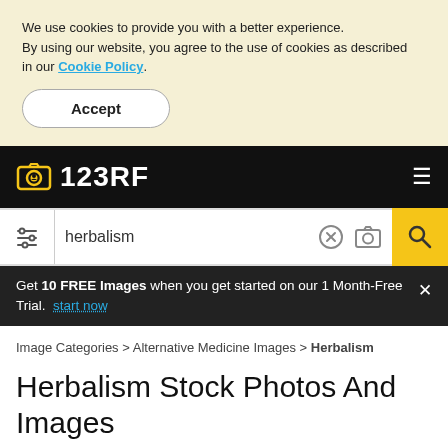We use cookies to provide you with a better experience. By using our website, you agree to the use of cookies as described in our Cookie Policy.
Accept
123RF
herbalism
Get 10 FREE Images when you get started on our 1 Month-Free Trial. start now
Image Categories > Alternative Medicine Images > Herbalism
Herbalism Stock Photos And Images